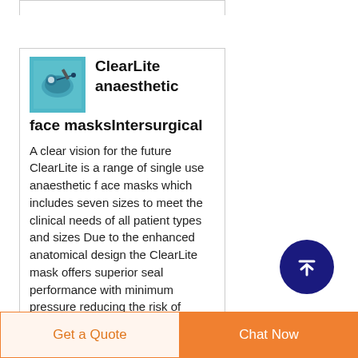[Figure (illustration): Product card for ClearLite anaesthetic face masks by Intersurgical, with a teal/blue product image thumbnail on the left and bold product title on the right, followed by product description text.]
ClearLite anaesthetic face masksIntersurgical
A clear vision for the future ClearLite is a range of single use anaesthetic f ace masks which includes seven sizes to meet the clinical needs of all patient types and sizes Due to the enhanced anatomical design the ClearLite mask offers superior seal performance with minimum pressure reducing the risk of
Get a Quote  |  Chat Now